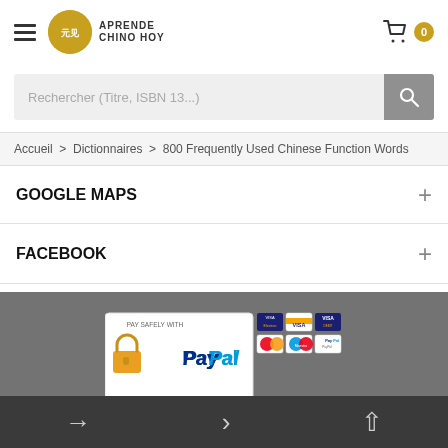Aprende Chino Hoy — navigation header with hamburger menu, logo, and cart icon (0 items)
Rechercher (Titre, ISBN 13...)
Accueil > Dictionnaires > 800 Frequently Used Chinese Function Words
GOOGLE MAPS
FACEBOOK
[Figure (logo): Pay safely with PayPal banner showing PayPal logo with padlock, Visa Electron, Visa, Visa Debit, MasterCard, Maestro, PayPal payment icons]
© 2017 Aprende Chino Hoy. All Rights Reserved  Bureau
Navigation arrows bottom bar